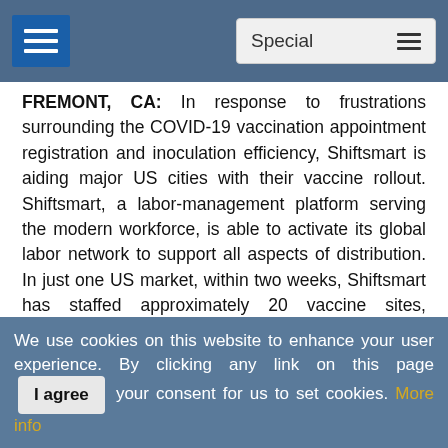Special
FREMONT, CA: In response to frustrations surrounding the COVID-19 vaccination appointment registration and inoculation efficiency, Shiftsmart is aiding major US cities with their vaccine rollout. Shiftsmart, a labor-management platform serving the modern workforce, is able to activate its global labor network to support all aspects of distribution. In just one US market, within two weeks, Shiftsmart has staffed approximately 20 vaccine sites, answered over 1,000 calls per hour, provided income for hundreds of workers, and assisted thousands of people in scheduling vaccination appointments.
As per published daily statistics (CDC.gov March 15 report)
We use cookies on this website to enhance your user experience. By clicking any link on this page you give your consent for us to set cookies. More info